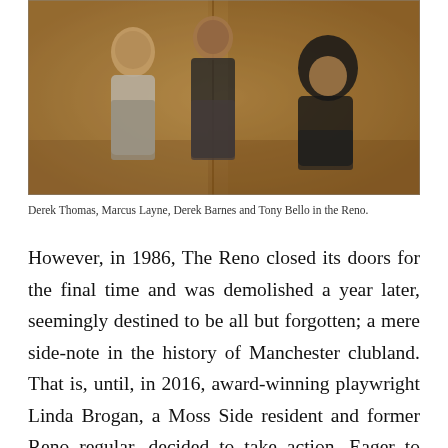[Figure (photo): Vintage sepia-toned photograph of four people standing and sitting together in a room, likely The Reno club. Three people stand in the background and one is seated at the right.]
Derek Thomas, Marcus Layne, Derek Barnes and Tony Bello in the Reno.
However, in 1986, The Reno closed its doors for the final time and was demolished a year later, seemingly destined to be all but forgotten; a mere side-note in the history of Manchester clubland. That is, until, in 2016, award-winning playwright Linda Brogan, a Moss Side resident and former Reno regular, decided to take action. Eager to preserve its memory, she began